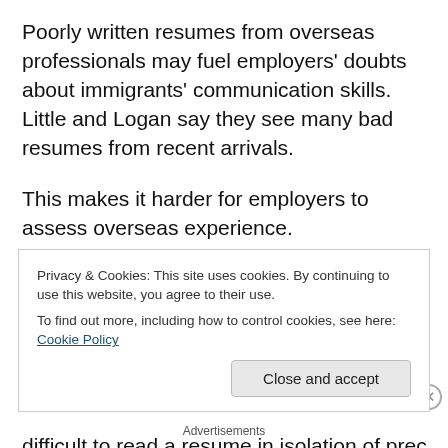Poorly written resumes from overseas professionals may fuel employers' doubts about immigrants' communication skills. Little and Logan say they see many bad resumes from recent arrivals.
This makes it harder for employers to assess overseas experience.
Logan recommends that newcomers provide context around places they've worked, including the challenges and drivers of the businesses they've worked in. It can be difficult to read a resume in isolation of preconceived ideas
Privacy & Cookies: This site uses cookies. By continuing to use this website, you agree to their use.
To find out more, including how to control cookies, see here: Cookie Policy
Close and accept
Advertisements